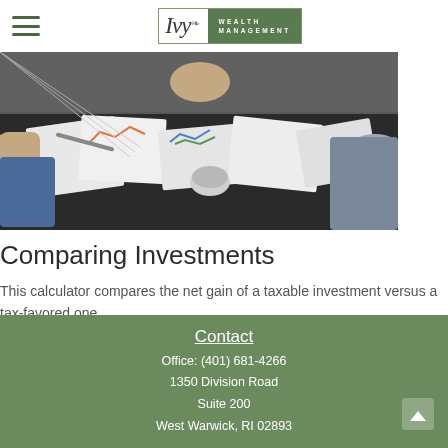Ivy Wealth Management
[Figure (photo): Overhead view of people at a meeting table reviewing documents and charts with papers spread out]
Comparing Investments
This calculator compares the net gain of a taxable investment versus a tax-favored one.
Contact
Office: (401) 681-4266
1350 Division Road
Suite 200
West Warwick, RI 02893